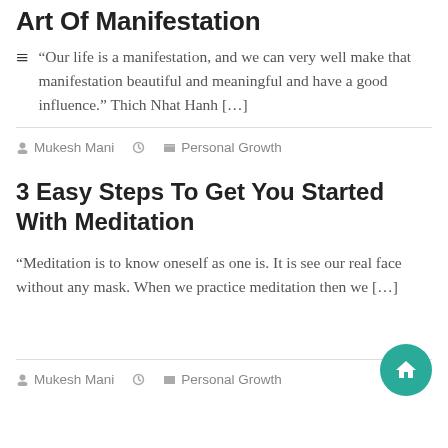Art Of Manifestation
“Our life is a manifestation, and we can very well make that manifestation beautiful and meaningful and have a good influence.” Thich Nhat Hanh […]
Mukesh Mani   ○   Personal Growth
3 Easy Steps To Get You Started With Meditation
“Meditation is to know oneself as one is. It is see our real face without any mask. When we practice meditation then we […]
Mukesh Mani   ○   Personal Growth